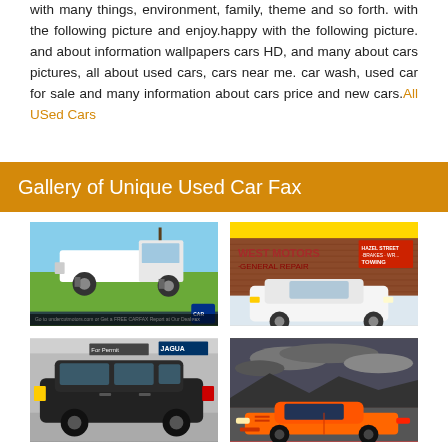with many things, environment, family, theme and so forth. with the following picture and enjoy.happy with the following picture. and about information wallpapers cars HD, and many about cars pictures, all about used cars, cars near me. car wash, used car for sale and many information about cars price and new cars.All USed Cars
Gallery of Unique Used Car Fax
[Figure (photo): White lifted pickup truck (Dodge Ram) parked on grass with blue sky background, CarFax advertisement banner at bottom]
[Figure (photo): West Motors General Repair shop sign on brick building exterior with a white Mitsubishi Lancer parked in front in snow]
[Figure (photo): Black SUV (Toyota RAV4 or similar) parked inside a dealership with Jaguar signage visible]
[Figure (photo): Orange sports car on a road with dramatic cloudy sky background]